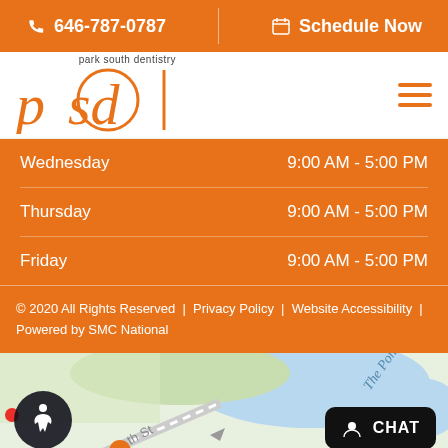646-787-0787  |  Schedule Now
[Figure (logo): Park South Dentistry logo with orange 'psd' text and circle accent]
| Day | Hours |
| --- | --- |
| Wednesday | 9:00 AM - 5:00 PM |
| Thursday | 9:00 AM - 5:00 PM |
| Friday | 9:00 AM - 5:00 PM |
© 2020 All Rights Reserved  |  Privacy Policy  |  Website Accessibility  |  Powered by SMC National
[Figure (map): Street map showing The Pond area with accessibility icon and chat button overlay]